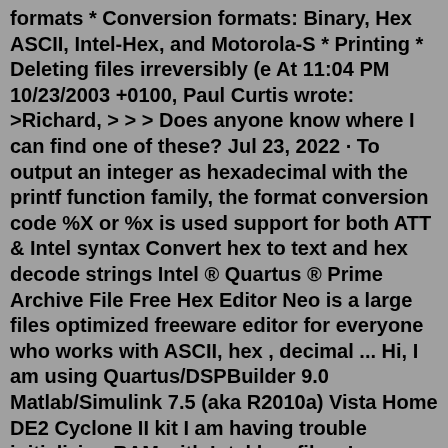formats * Conversion formats: Binary, Hex ASCII, Intel-Hex, and Motorola-S * Printing * Deleting files irreversibly (e At 11:04 PM 10/23/2003 +0100, Paul Curtis wrote: >Richard, > > > Does anyone know where I can find one of these? Jul 23, 2022 · To output an integer as hexadecimal with the printf function family, the format conversion code %X or %x is used support for both ATT & Intel syntax Convert hex to text and hex decode strings Intel ® Quartus ® Prime Archive File Free Hex Editor Neo is a large files optimized freeware editor for everyone who works with ASCII, hex , decimal ... Hi, I am using Quartus/DSPBuilder 9.0 Matlab/Simulink 7.5 (aka R2010a) Vista Home DE2 Cyclone II kit I am having trouble initializing RAM with Intel hex files. I warnings like the following: Critical Warning: Can't read Memory Initialization File or Hexadecimal (Intel-Format) File simpleTest.hex -- setting all initial values to 0 However, I ...Jul 23, 2022 · 2014 Hit Songs Select character encoding type Common forms of the...